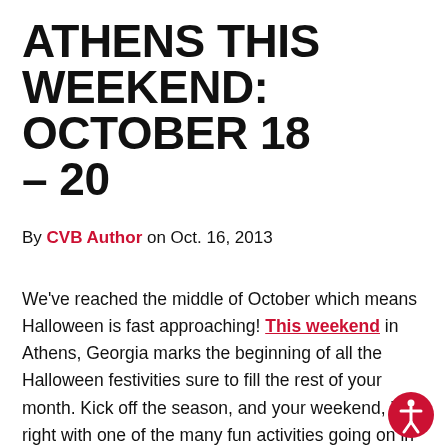ATHENS THIS WEEKEND: OCTOBER 18 – 20
By CVB Author on Oct. 16, 2013
We've reached the middle of October which means Halloween is fast approaching! This weekend in Athens, Georgia marks the beginning of all the Halloween festivities sure to fill the rest of your month. Kick off the season, and your weekend, just right with one of the many fun activities going on in the Classic City. Whether you want to enjoy the days with family, or party the nights away with friends, Athens has it all to make sure you spend your weekend doing what you love.